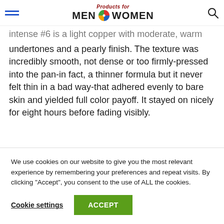Products for MEN WOMEN
intense #6 is a light copper with moderate, warm undertones and a pearly finish. The texture was incredibly smooth, not dense or too firmly-pressed into the pan-in fact, a thinner formula but it never felt thin in a bad way-that adhered evenly to bare skin and yielded full color payoff. It stayed on nicely for eight hours before fading visibly.
Sephora Break the Bank (386) (p. $9.00) is more
We use cookies on our website to give you the most relevant experience by remembering your preferences and repeat visits. By clicking “Accept”, you consent to the use of ALL the cookies.
Cookie settings | ACCEPT